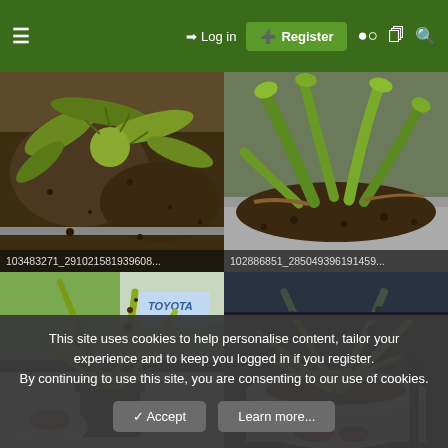≡  →] Log in  [+] Register  ⏺  🗒  🔍
[Figure (photo): Venus flytrap or carnivorous plant in a pot with dark soil, viewed from above, close-up photo]
103483271_291021581939608...
[Figure (photo): Carnivorous plant (Dionaea muscipula / Venus flytrap) in a pot with dark soil, viewed from above, close-up photo]
102886851_285049396191459...
[Figure (photo): Carnivorous plant with long narrow leaves showing dark spots, in a small square pot on a windowsill, with a small round plant nearby]
[Figure (photo): Carnivorous plant with long yellow-green spotted leaves in a white round pot, with a small red plant visible at bottom]
This site uses cookies to help personalise content, tailor your experience and to keep you logged in if you register.
By continuing to use this site, you are consenting to our use of cookies.
✓ Accept    Learn more...